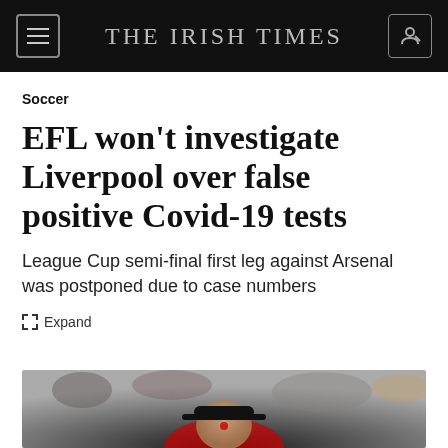THE IRISH TIMES
Soccer
EFL won't investigate Liverpool over false positive Covid-19 tests
League Cup semi-final first leg against Arsenal was postponed due to case numbers
Expand
[Figure (photo): Photograph of a person wearing a Liverpool FC cap and red kit, with blurred crowd in background]